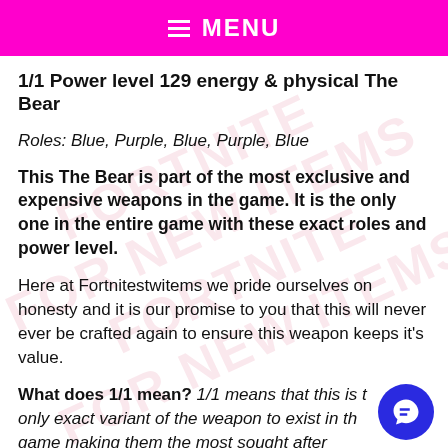MENU
1/1 Power level 129 energy & physical The Bear
Roles: Blue, Purple, Blue, Purple, Blue
This The Bear is part of the most exclusive and expensive weapons in the game. It is the only one in the entire game with these exact roles and power level.
Here at Fortnitestwitems we pride ourselves on honesty and it is our promise to you that this will never ever be crafted again to ensure this weapon keeps it’s value.
What does 1/1 mean? 1/1 means that this is the only exact variant of the weapon to exist in the game making them the most sought after